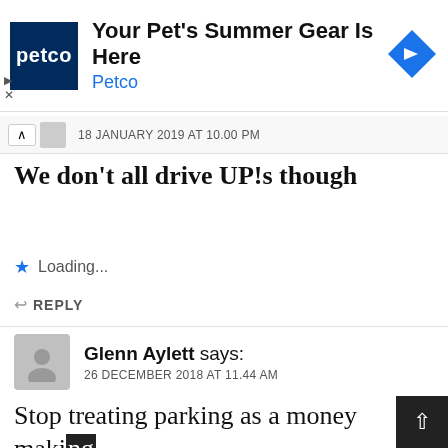[Figure (screenshot): Petco advertisement banner with logo, text 'Your Pet's Summer Gear Is Here / Petco', blue diamond arrow icon, and play/close controls]
18 JANUARY 2019 AT 10.00 PM
We don't all drive UP!s though
Loading...
REPLY
Glenn Aylett says:
26 DECEMBER 2018 AT 11.44 AM
Stop treating parking as a money making exercise and a way of bullying motorists